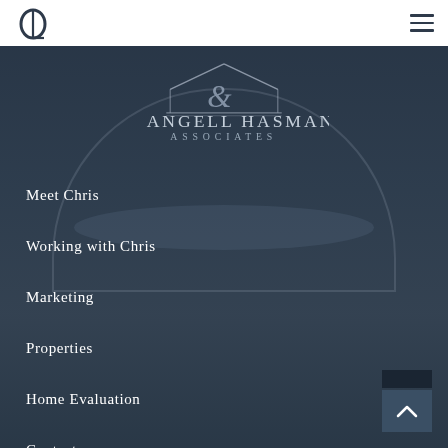[Figure (logo): Angell Hasman & Associates real estate logo with rooftop/house outline graphic and ampersand symbol, displayed in grey/silver tones on dark navy background]
Meet Chris
Working with Chris
Marketing
Properties
Home Evaluation
Contact